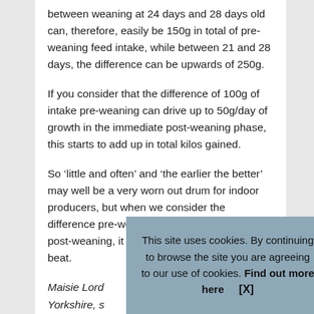between weaning at 24 days and 28 days old can, therefore, easily be 150g in total of pre-weaning feed intake, while between 21 and 28 days, the difference can be upwards of 250g.
If you consider that the difference of 100g of intake pre-weaning can drive up to 50g/day of growth in the immediate post-weaning phase, this starts to add up in total kilos gained.
So ‘little and often’ and ‘the earlier the better’ may well be a very worn out drum for indoor producers, but when we consider the difference pre-weaning feed intake can make post-weaning, it is one worth continuing to beat.
Maisie Lord
Yorkshire, s
Netherlands
This site uses cookies. By continuing to browse the site you are agreeing to our use of cookies. Find out more here    [X]